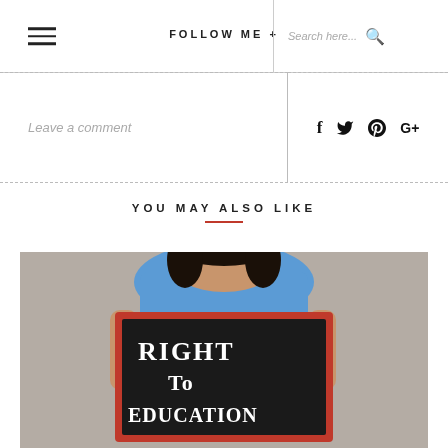FOLLOW ME +   Search here...
Leave a comment
YOU MAY ALSO LIKE
[Figure (photo): A young child holding a blackboard sign that reads 'RIGHT To EDUCATION' with a red frame, against a grey concrete wall background. The child is wearing a blue school uniform.]